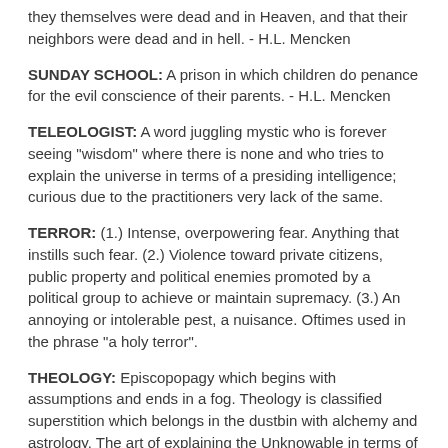they themselves were dead and in Heaven, and that their neighbors were dead and in hell. - H.L. Mencken
SUNDAY SCHOOL: A prison in which children do penance for the evil conscience of their parents. - H.L. Mencken
TELEOLOGIST: A word juggling mystic who is forever seeing "wisdom" where there is none and who tries to explain the universe in terms of a presiding intelligence; curious due to the practitioners very lack of the same.
TERROR: (1.) Intense, overpowering fear. Anything that instills such fear. (2.) Violence toward private citizens, public property and political enemies promoted by a political group to achieve or maintain supremacy. (3.) An annoying or intolerable pest, a nuisance. Oftimes used in the phrase "a holy terror".
THEOLOGY: Episcopopagy which begins with assumptions and ends in a fog. Theology is classified superstition which belongs in the dustbin with alchemy and astrology. The art of explaining the Unknowable in terms of things not worth